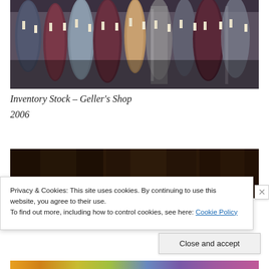[Figure (photo): Photograph of fabric/textile rolls stacked on shelves with price tags, in a shop. Various colors including blue, maroon, gray, brown, and dark red.]
Inventory Stock – Geller's Shop
2006
[Figure (photo): Partially visible photograph, dark tones, appears to be another interior shop image, partially obscured by cookie consent banner.]
Privacy & Cookies: This site uses cookies. By continuing to use this website, you agree to their use.
To find out more, including how to control cookies, see here: Cookie Policy
Close and accept